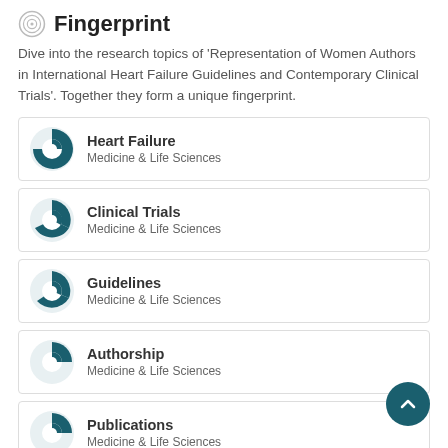Fingerprint
Dive into the research topics of 'Representation of Women Authors in International Heart Failure Guidelines and Contemporary Clinical Trials'. Together they form a unique fingerprint.
Heart Failure
Medicine & Life Sciences
Clinical Trials
Medicine & Life Sciences
Guidelines
Medicine & Life Sciences
Authorship
Medicine & Life Sciences
Publications
Medicine & Life Sciences